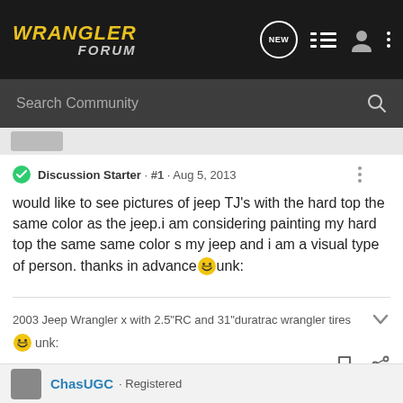WRANGLER FORUM
Search Community
Discussion Starter · #1 · Aug 5, 2013
would like to see pictures of jeep TJ's with the hard top the same color as the jeep.i am considering painting my hard top the same same color s my jeep and i am a visual type of person. thanks in advance 😛unk:
2003 Jeep Wrangler x with 2.5"RC and 31"duratrac wrangler tires
😛unk:
ChasUGC · Registered